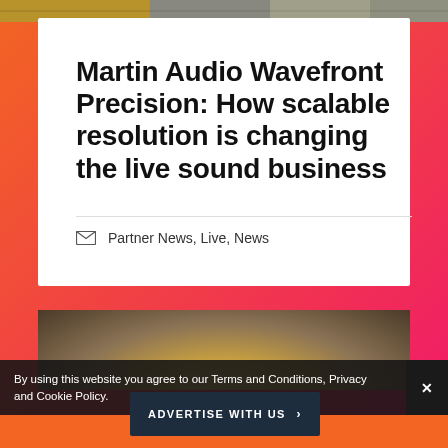[Figure (photo): Top strip showing a collage-like image with concert/music imagery]
Martin Audio Wavefront Precision: How scalable resolution is changing the live sound business
Partner News, Live, News
[Figure (photo): Photo of audio speaker equipment, yellowish/brown tones, partially visible]
By using this website you agree to our Terms and Conditions, Privacy and Cookie Policy.
ADVERTISE WITH US >